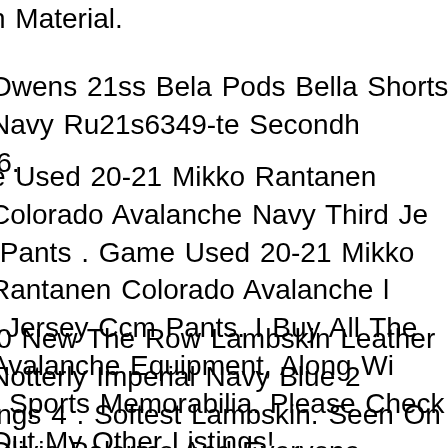n Material.
Owens 21ss Bela Pods Bella Shorts Navy Ru21s6349-te Secondh i6.
e Used 20-21 Mikko Rantanen Colorado Avalanche Navy Third Je Pants . Game Used 20-21 Mikko Rantanen Colorado Avalanche l Jersey Ccm Pants. I Buy All The Avalanche Equipment, Along Wi r Sports Memorabilia. Please Check Out My Other Listings!
0 New The Row Lambskin Leather Notterly Imperial Navy Blue 2 ings 4 . Softest Lambskin. Seen On Olivia Palermo And Everyone Has Style. As Seen On A Last Picture, When Zippers Are Open Th ings Look Like Pants ( Nice Option To Have!). Available In Imperi . Stitch Detailing At Knee.
et Union Ussr Navy Admirals White Dress Uniform Cap Tunic Shir s 60's. Soviet Union Ussr Navy Admirals White Dress Uniform Inc Tunic, Shirt With Shoulder Boards & Black Pants.